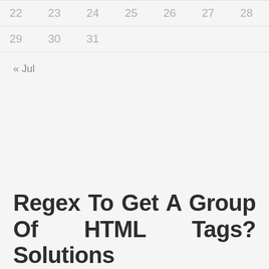| 22 | 23 | 24 | 25 | 26 | 27 | 28 |
| 29 | 30 | 31 |  |  |  |  |
« Jul
Regex To Get A Group Of HTML Tags? Solutions